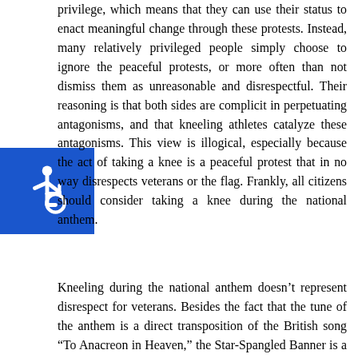privilege, which means that they can use their status to enact meaningful change through these protests. Instead, many relatively privileged people simply choose to ignore the peaceful protests, or more often than not dismiss them as unreasonable and disrespectful. Their reasoning is that both sides are complicit in perpetuating antagonisms, and that kneeling athletes catalyze these antagonisms. This view is illogical, especially because the act of taking a knee is a peaceful protest that in no way disrespects veterans or the flag. Frankly, all citizens should consider taking a knee during the national anthem.
Kneeling during the national anthem doesn't represent disrespect for veterans. Besides the fact that the tune of the anthem is a direct transposition of the British song “To Anacreon in Heaven,” the Star-Spangled Banner is a literal reference to flying the flag of the United States following the bombardment of Fort McHenry during the War of 1812. While one could argue that this is a perfect